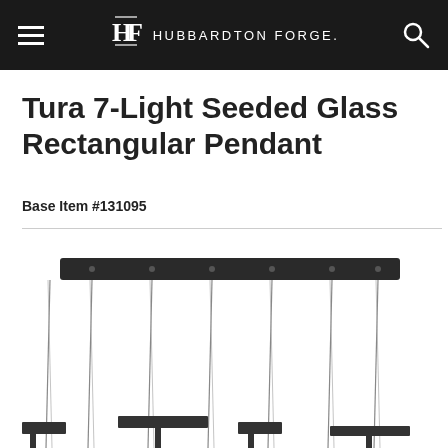HUBBARDTON FORGE.
Tura 7-Light Seeded Glass Rectangular Pendant
Base Item #131095
[Figure (photo): Partial view of a Tura 7-Light Seeded Glass Rectangular Pendant chandelier showing a long dark rectangular canopy at the top with seven thin wire rods hanging down, and the tops of the glass shades visible at the bottom of the image.]